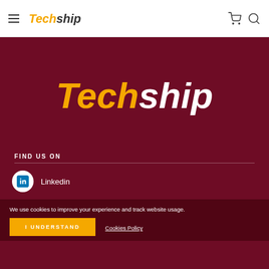Techship
[Figure (logo): Techship logo large on dark maroon background. 'Tech' in orange/amber, 'ship' in white, bold italic.]
FIND US ON
Linkedin
We use cookies to improve your experience and track website usage.
I UNDERSTAND
Cookies Policy